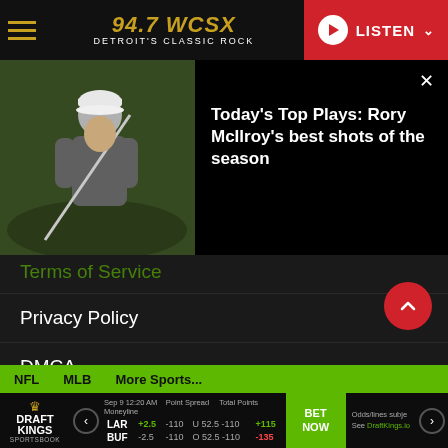94.7 WCSX — Detroit's Classic Rock | LISTEN
[Figure (screenshot): Media card showing golfer Rory McIlroy mid-swing with white cap, grey shirt, green background]
Today's Top Plays: Rory McIlroy's best shots of the season
Terms of Service
Privacy Policy
DMCA
EEO
Advertising Terms and Conditions
FCC Public File
FCC Applications
NFL  MLB  More Sports... | DraftKings Sportsbook: LAR +2.5 -110 / BUF -2.5 -110 | U 52.5 -110 / O 52.5 -110 | +115 / -135 | BET NOW | Odds/lines subject to change. See DraftKings.io